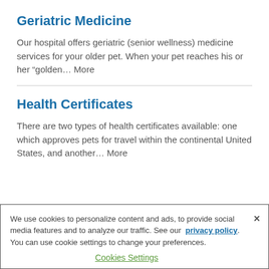Geriatric Medicine
Our hospital offers geriatric (senior wellness) medicine services for your older pet.  When your pet reaches his or her “golden… More
Health Certificates
There are two types of health certificates available: one which approves pets for travel within the continental United States, and another… More
We use cookies to personalize content and ads, to provide social media features and to analyze our traffic. See our privacy policy. You can use cookie settings to change your preferences. Cookies Settings